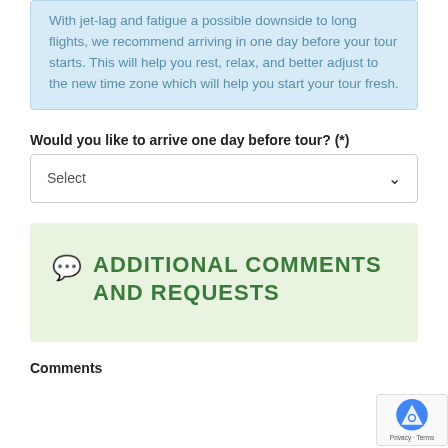With jet-lag and fatigue a possible downside to long flights, we recommend arriving in one day before your tour starts. This will help you rest, relax, and better adjust to the new time zone which will help you start your tour fresh.
Would you like to arrive one day before tour? (*)
Select
ADDITIONAL COMMENTS AND REQUESTS
Comments